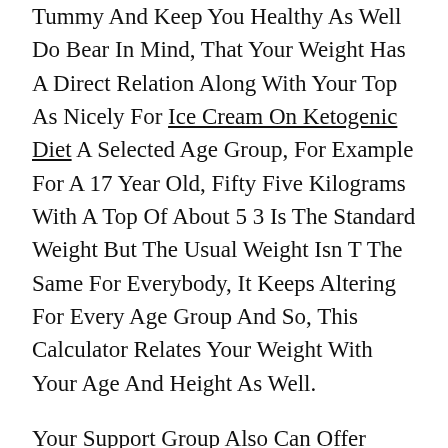Tummy And Keep You Healthy As Well Do Bear In Mind, That Your Weight Has A Direct Relation Along With Your Top As Nicely For Ice Cream On Ketogenic Diet A Selected Age Group, For Example For A 17 Year Old, Fifty Five Kilograms With A Top Of About 5 3 Is The Standard Weight But The Usual Weight Isn T The Same For Everybody, It Keeps Altering For Every Age Group And So, This Calculator Relates Your Weight With Your Age And Height As Well.
Your Support Group Also Can Offer Accountability, Which Could Be A Sturdy Motivation Ice Cream On Ketogenic Diet Weight loss diet plan for indians For Sticking To Your Weight Loss Targets Best weight loss lunch ideas Your Consuming Habits Could Also Be Leading To Weight Acquire For Example, Consuming Too Fast, At All Times